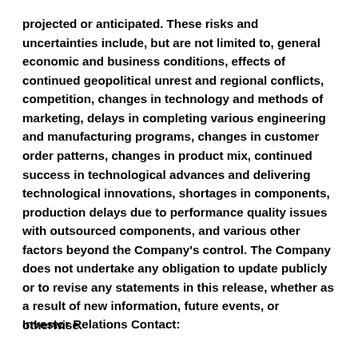projected or anticipated.  These risks and uncertainties include, but are not limited to, general economic and business conditions, effects of continued geopolitical unrest and regional conflicts, competition, changes in technology and methods of marketing, delays in completing various engineering and manufacturing programs, changes in customer order patterns, changes in product mix, continued success in technological advances and delivering technological innovations, shortages in components, production delays due to performance quality issues with outsourced components, and various other factors beyond the Company's control.  The Company does not undertake any obligation to update publicly or to revise any statements in this release, whether as a result of new information, future events, or otherwise.
Investor Relations Contact: